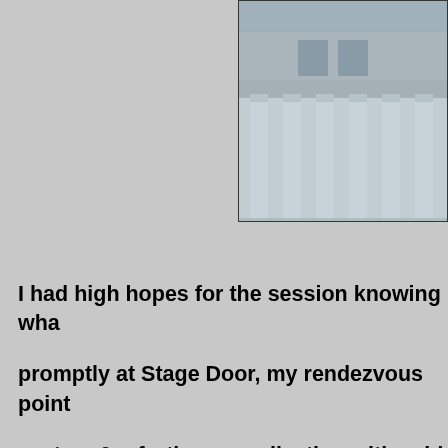[Figure (photo): Photo of a neoclassical building with large white columns, viewed from a low angle. The image has a slightly faded/retro color tone.]
I had high hopes for the session knowing wha… promptly at Stage Door, my rendezvous point… system & a further complication with said Pres… half-hour. By the time he came & found me, I wa… – As is often the case on these kind of shoots, ti… & into the rehearsal halls. By the time we work… had literally five minutes to get my shots. I mad…